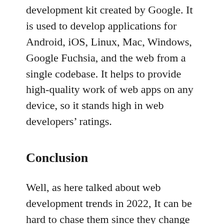development kit created by Google. It is used to develop applications for Android, iOS, Linux, Mac, Windows, Google Fuchsia, and the web from a single codebase. It helps to provide high-quality work of web apps on any device, so it stands high in web developers' ratings.
Conclusion
Well, as here talked about web development trends in 2022, It can be hard to chase them since they change so fast. But, we must keep them in check and try them out..!!
By following the latest tendencies in web